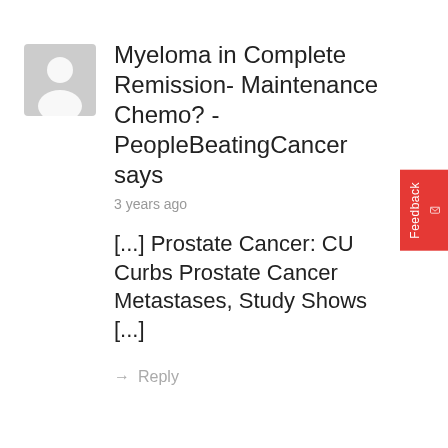[Figure (illustration): Generic grey user avatar silhouette icon]
Myeloma in Complete Remission- Maintenance Chemo? - PeopleBeatingCancer says
3 years ago
[...] Prostate Cancer: CU Curbs Prostate Cancer Metastases, Study Shows [...]
→ Reply